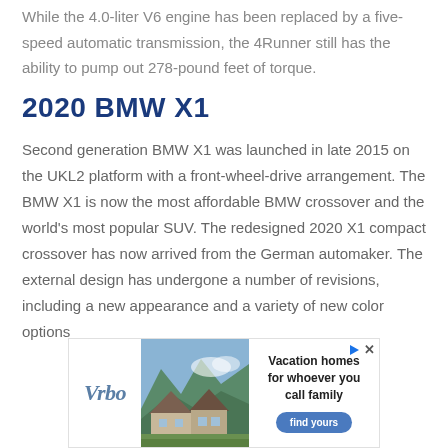While the 4.0-liter V6 engine has been replaced by a five-speed automatic transmission, the 4Runner still has the ability to pump out 278-pound feet of torque.
2020 BMW X1
Second generation BMW X1 was launched in late 2015 on the UKL2 platform with a front-wheel-drive arrangement. The BMW X1 is now the most affordable BMW crossover and the world's most popular SUV. The redesigned 2020 X1 compact crossover has now arrived from the German automaker. The external design has undergone a number of revisions, including a new appearance and a variety of new color options
[Figure (other): Vrbo advertisement banner showing a vacation home in a mountain setting with text 'Vacation homes for whoever you call family' and a 'find yours' button]